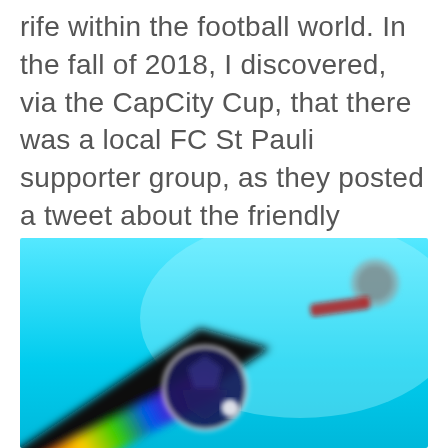rife within the football world. In the fall of 2018, I discovered, via the CapCity Cup, that there was a local FC St Pauli supporter group, as they posted a tweet about the friendly match. I joined soon after that and got to know even more great local supporters.
[Figure (photo): A blurred photo on a bright cyan/turquoise background showing a dark cap (possibly a baseball cap) with a rainbow-colored band, a dark blue soccer ball, and a small grey circular object in the upper right area of the image.]